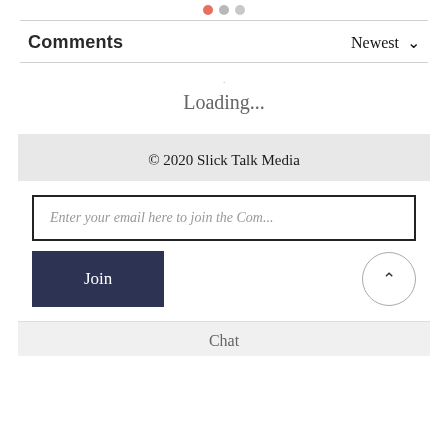[Figure (other): Three small dots (decorative pagination or section indicator): one salmon/red, one medium gray, one light gray]
Comments
Newest ∨
Loading...
© 2020 Slick Talk Media
Enter your email here to join the Com...
Join
Chat